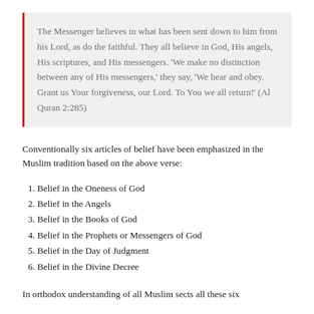The Messenger believes in what has been sent down to him from his Lord, as do the faithful. They all believe in God, His angels, His scriptures, and His messengers. 'We make no distinction between any of His messengers,' they say, 'We hear and obey. Grant us Your forgiveness, our Lord. To You we all return!' (Al Quran 2:285)
Conventionally six articles of belief have been emphasized in the Muslim tradition based on the above verse:
1. Belief in the Oneness of God
2. Belief in the Angels
3. Belief in the Books of God
4. Belief in the Prophets or Messengers of God
5. Belief in the Day of Judgment
6. Belief in the Divine Decree
In orthodox understanding of all Muslim sects all these six